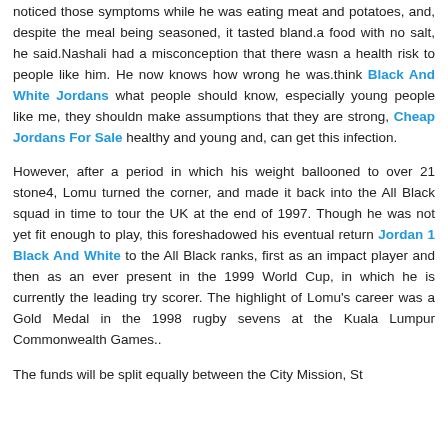noticed those symptoms while he was eating meat and potatoes, and, despite the meal being seasoned, it tasted bland.a food with no salt, he said.Nashali had a misconception that there wasn a health risk to people like him. He now knows how wrong he was.think Black And White Jordans what people should know, especially young people like me, they shouldn make assumptions that they are strong, Cheap Jordans For Sale healthy and young and, can get this infection.
However, after a period in which his weight ballooned to over 21 stone4, Lomu turned the corner, and made it back into the All Black squad in time to tour the UK at the end of 1997. Though he was not yet fit enough to play, this foreshadowed his eventual return Jordan 1 Black And White to the All Black ranks, first as an impact player and then as an ever present in the 1999 World Cup, in which he is currently the leading try scorer. The highlight of Lomu's career was a Gold Medal in the 1998 rugby sevens at the Kuala Lumpur Commonwealth Games..
The funds will be split equally between the City Mission, St